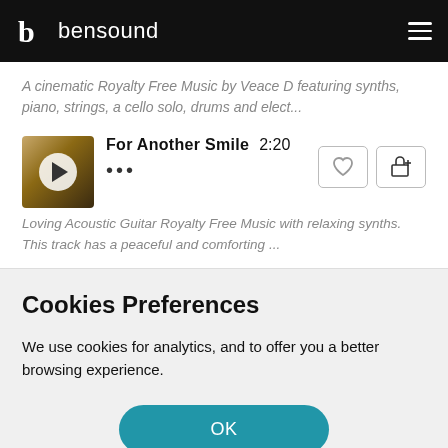bensound
A cinematic Royalty Free Music by Veace D featuring synths, piano, strings, a cello solo, drums and elect...
[Figure (screenshot): Track listing item showing 'For Another Smile' with duration 2:20, a play button thumbnail, three dots menu, heart/favorite button, and add to cart button]
Loving Acoustic Guitar Royalty Free Music with relaxing synths. This track has a peaceful and comforting ...
Cookies Preferences
We use cookies for analytics, and to offer you a better browsing experience.